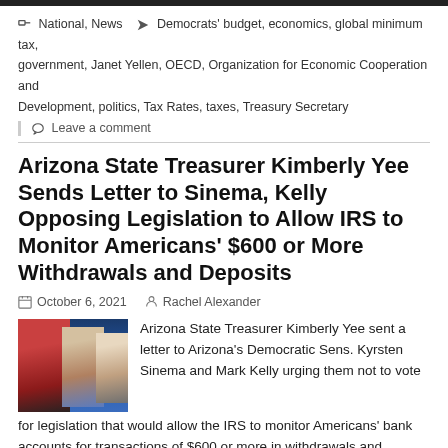National, News  Democrats' budget, economics, global minimum tax, government, Janet Yellen, OECD, Organization for Economic Cooperation and Development, politics, Tax Rates, taxes, Treasury Secretary
Leave a comment
Arizona State Treasurer Kimberly Yee Sends Letter to Sinema, Kelly Opposing Legislation to Allow IRS to Monitor Americans' $600 or More Withdrawals and Deposits
October 6, 2021   Rachel Alexander
[Figure (photo): Photo of Arizona State Treasurer Kimberly Yee with Sens. Kyrsten Sinema and Mark Kelly]
Arizona State Treasurer Kimberly Yee sent a letter to Arizona's Democratic Sens. Kyrsten Sinema and Mark Kelly urging them not to vote for legislation that would allow the IRS to monitor Americans' bank accounts for transactions of $600 or more in withdrawals and deposits. The proposal is part of the Biden administration's $3.5 trillion American Families Plan, the so-called "human